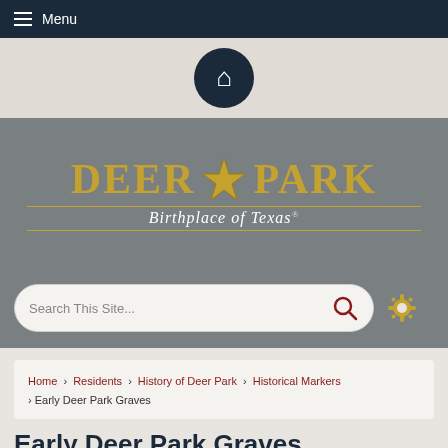Menu
[Figure (logo): Deer Park city logo - home icon button]
[Figure (logo): Deer Park - Birthplace of Texas city logo with gold star]
Search This Site...
Home › Residents › History of Deer Park › Historical Markers › Early Deer Park Graves
Early Deer Park Graves